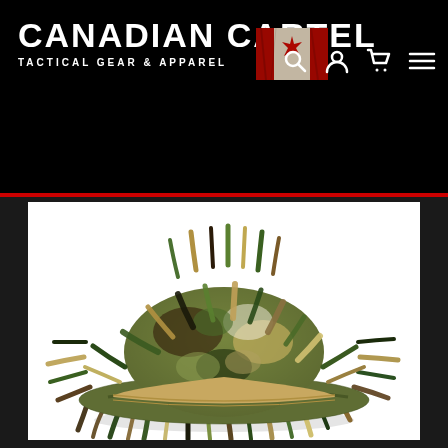CANADIAN CARTEL TACTICAL GEAR & APPAREL
[Figure (logo): Canadian flag with maple leaf, distressed/worn look, red and white]
[Figure (photo): Camouflage ghillie boonie hat with leafy fabric strips in green, tan, black, and white camo pattern, mesh base with tan headband, displayed on white background]